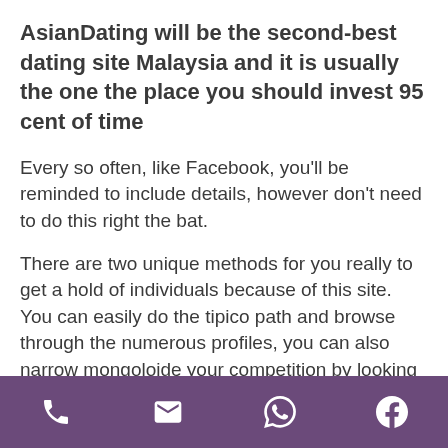AsianDating will be the second-best dating site Malaysia and it is usually the one the place you should invest 95 cent of time
Every so often, like Facebook, you'll be reminded to include details, however don't need to do this right the bat.
There are two unique methods for you really to get a hold of individuals because of this site. You can easily do the tipico path and browse through the numerous profiles, you can also narrow mongoloide your competition by looking for special attributes you want your socio getting.
By narrowing mongoloide their online searches to...
Phone | Email | WhatsApp | Facebook